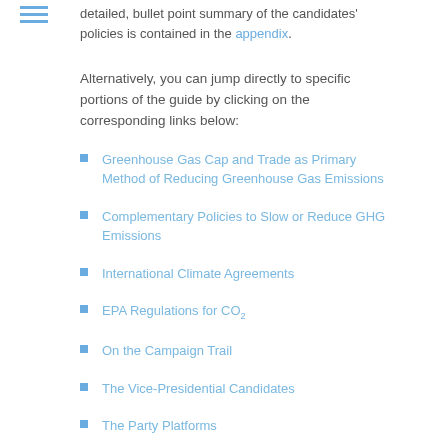detailed, bullet point summary of the candidates' policies is contained in the appendix.
Alternatively, you can jump directly to specific portions of the guide by clicking on the corresponding links below:
Greenhouse Gas Cap and Trade as Primary Method of Reducing Greenhouse Gas Emissions
Complementary Policies to Slow or Reduce GHG Emissions
International Climate Agreements
EPA Regulations for CO2
On the Campaign Trail
The Vice-Presidential Candidates
The Party Platforms
Appendix: Candidates' Climate- and Energy-Related